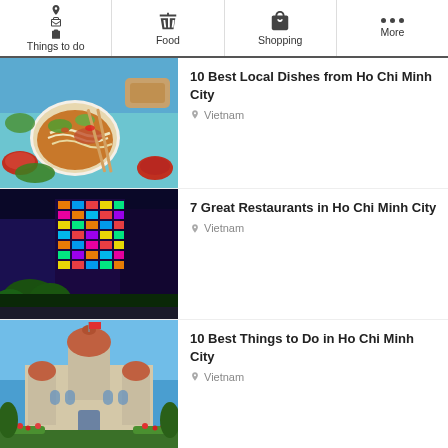Things to do | Food | Shopping | More
[Figure (screenshot): Travel article thumbnail: bowl of Vietnamese pho with chopsticks, spring rolls, and sauces on blue background]
10 Best Local Dishes from Ho Chi Minh City
Vietnam
[Figure (screenshot): Travel article thumbnail: colorful illuminated buildings at night in Ho Chi Minh City]
7 Great Restaurants in Ho Chi Minh City
Vietnam
[Figure (screenshot): Travel article thumbnail: Ho Chi Minh City Hall building with red dome roofs, gardens in front, blue sky]
10 Best Things to Do in Ho Chi Minh City
Vietnam